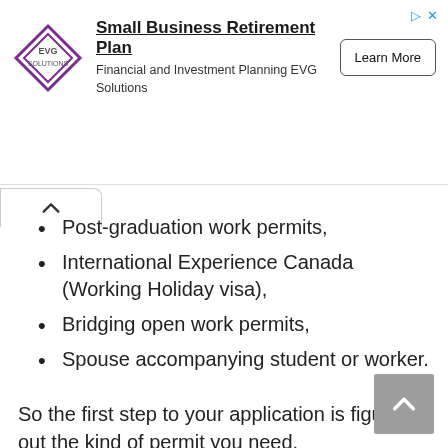[Figure (infographic): Advertisement banner for Small Business Retirement Plan by EVG Solutions. Contains a diamond-shaped logo with 'SOLUTIONS' text, bold title 'Small Business Retirement Plan', subtitle 'Financial and Investment Planning EVG Solutions', and a 'Learn More' button. Navigation/close icons in top-right.]
Post-graduation work permits,
International Experience Canada (Working Holiday visa),
Bridging open work permits,
Spouse accompanying student or worker.
So the first step to your application is figuring out the kind of permit you need.